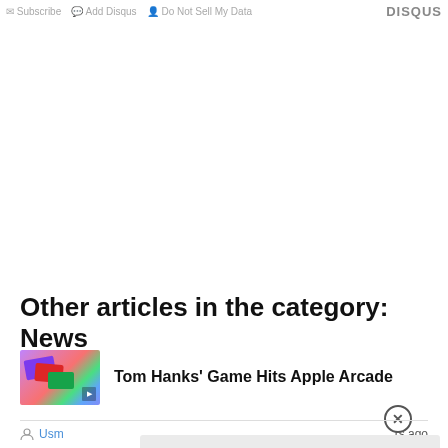Subscribe  Add Disqus  Do Not Sell My Data   DISQUS
Other articles in the category: News
[Figure (photo): Thumbnail image of colorful credit/gift cards fanned out]
Tom Hanks' Game Hits Apple Arcade
Usm... rs ago